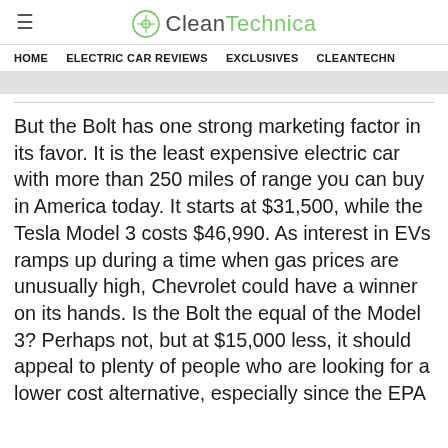CleanTechnica
HOME   ELECTRIC CAR REVIEWS   EXCLUSIVES   CLEANTECHN
But the Bolt has one strong marketing factor in its favor. It is the least expensive electric car with more than 250 miles of range you can buy in America today. It starts at $31,500, while the Tesla Model 3 costs $46,990. As interest in EVs ramps up during a time when gas prices are unusually high, Chevrolet could have a winner on its hands. Is the Bolt the equal of the Model 3? Perhaps not, but at $15,000 less, it should appeal to plenty of people who are looking for a lower cost alternative, especially since the EPA